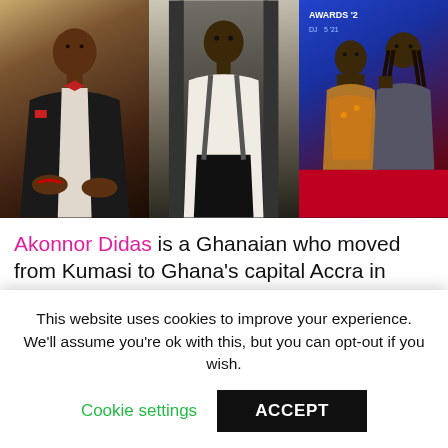[Figure (photo): Three photos side by side: left - a young man in a suit with bow tie seated; center - a young man standing in a white shirt and dark pants; right - two men posing together at an awards event with blue backdrop.]
Akonnor Didas is a Ghanaian who moved from Kumasi to Ghana's capital Accra in search of a better life Determined to elevate from poverty, he resorted to selling yoghurt while domiciled in a kiosk with other colleagues He is now pursuing
This website uses cookies to improve your experience. We'll assume you're ok with this, but you can opt-out if you wish.
Cookie settings
ACCEPT